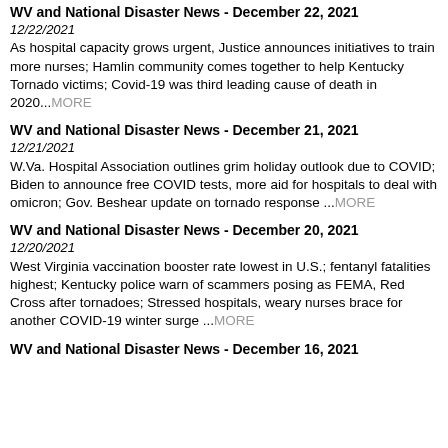WV and National Disaster News - December 22, 2021
12/22/2021
As hospital capacity grows urgent, Justice announces initiatives to train more nurses; Hamlin community comes together to help Kentucky Tornado victims; Covid-19 was third leading cause of death in 2020...MORE
WV and National Disaster News - December 21, 2021
12/21/2021
W.Va. Hospital Association outlines grim holiday outlook due to COVID; Biden to announce free COVID tests, more aid for hospitals to deal with omicron; Gov. Beshear update on tornado response ...MORE
WV and National Disaster News - December 20, 2021
12/20/2021
West Virginia vaccination booster rate lowest in U.S.; fentanyl fatalities highest; Kentucky police warn of scammers posing as FEMA, Red Cross after tornadoes; Stressed hospitals, weary nurses brace for another COVID-19 winter surge ...MORE
WV and National Disaster News - December 16, 2021